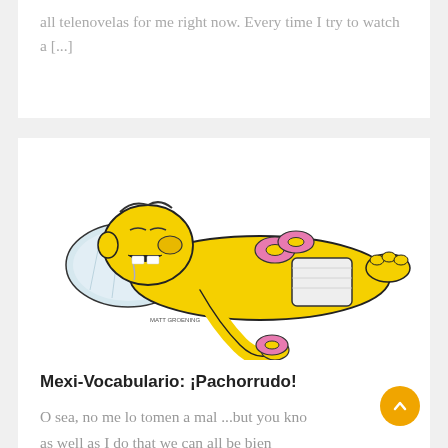all telenovelas for me right now. Every time I try to watch a [...]
[Figure (illustration): Homer Simpson lying on his back sleeping with mouth open and drool, holding a donut near his foot and donuts on his belly, wearing underwear, on a pillow. Signed 'Matt Groening'.]
Mexi-Vocabulario: ¡Pachorrudo!
O sea, no me lo tomen a mal ...but you know as well as I do that we can all be bien